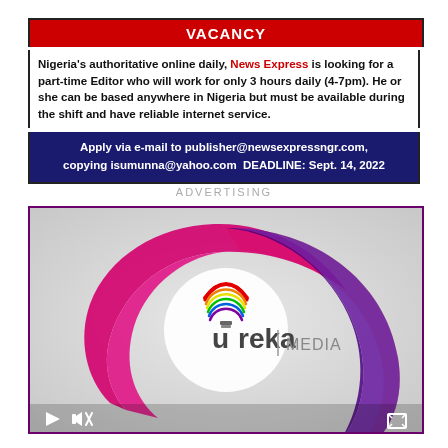VACANCY
Nigeria's authoritative online daily, News Express is looking for a part-time Editor who will work for only 3 hours daily (4-7pm). He or she can be based anywhere in Nigeria but must be available during the shift and have reliable internet service.
Apply via e-mail to publisher@newsexpressngr.com, copying isumunna@yahoo.com  DEADLINE: Sept. 14, 2022
ADVERTISING
[Figure (logo): Ureka Media logo — colorful swirl design in pink, magenta, salmon, and purple tones with a light bulb icon and the text 'ureka | MEDIA'. Video player controls visible at the bottom (play button, volume/mute icon, fullscreen icon).]